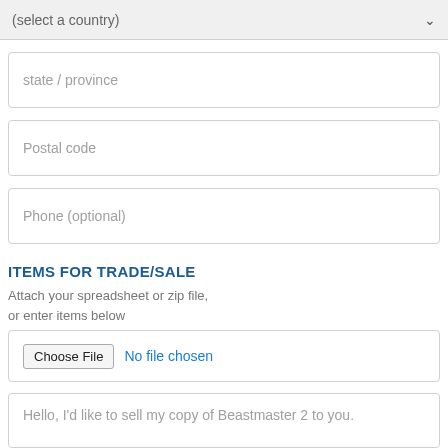[Figure (screenshot): Dropdown select field showing '(select a country)' with chevron]
state / province
Postal code
Phone (optional)
ITEMS FOR TRADE/SALE
Attach your spreadsheet or zip file, or enter items below
Choose File  No file chosen
Hello, I'd like to sell my copy of Beastmaster 2 to you.